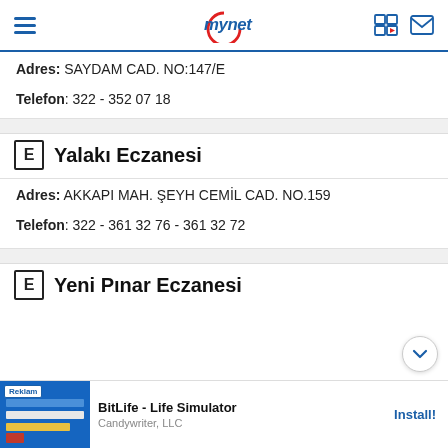mynet
Adres: SAYDAM CAD. NO:147/E
Telefon: 322 - 352 07 18
E Yalakı Eczanesi
Adres: AKKAPI MAH. ŞEYH CEMİL CAD. NO.159
Telefon: 322 - 361 32 76 - 361 32 72
E Yeni Pınar Eczanesi
[Figure (screenshot): Advertisement banner for BitLife - Life Simulator by Candywriter, LLC with Install button]